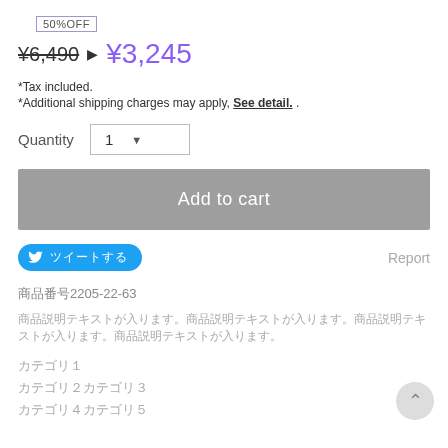50%OFF
¥6,490 ▶ ¥3,245
*Tax included.
*Additional shipping charges may apply, See detail. .
Quantity  1
Add to cart
ツイートする
Report
商品番号2205-22-63
商品説明テキストが入ります。商品説明テキストが入ります。商品説明テキストが入ります。
カテゴリ1
カテゴリ2カテゴリ3
カテゴリ4カテゴリ5